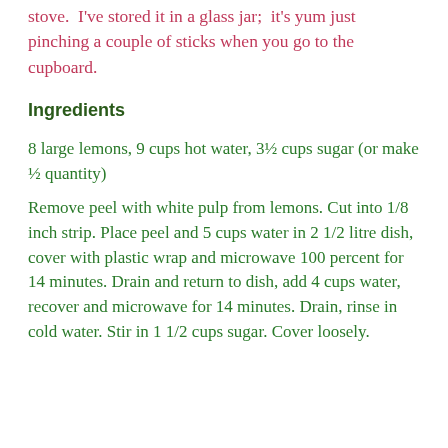stove.  I've stored it in a glass jar;  it's yum just pinching a couple of sticks when you go to the cupboard.
Ingredients
8 large lemons, 9 cups hot water, 3½ cups sugar (or make ½ quantity)
Remove peel with white pulp from lemons. Cut into 1/8 inch strip. Place peel and 5 cups water in 2 1/2 litre dish, cover with plastic wrap and microwave 100 percent for 14 minutes. Drain and return to dish, add 4 cups water, recover and microwave for 14 minutes. Drain, rinse in cold water. Stir in 1 1/2 cups sugar. Cover loosely.